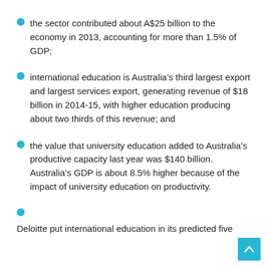the sector contributed about A$25 billion to the economy in 2013, accounting for more than 1.5% of GDP;
international education is Australia’s third largest export and largest services export, generating revenue of $18 billion in 2014‑15, with higher education producing about two thirds of this revenue; and
the value that university education added to Australia’s productive capacity last year was $140 billion. Australia’s GDP is about 8.5% higher because of the impact of university education on productivity.
Deloitte put international education in its predicted five